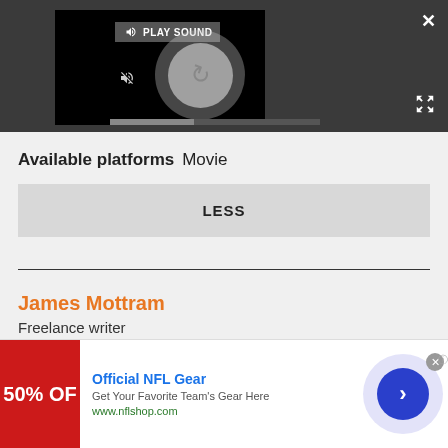[Figure (screenshot): Video player UI with PLAY SOUND button, mute button, spinning loading circle, and progress bar on dark background. Close X button top right, expand arrows bottom right.]
Available platforms  Movie
LESS
James Mottram
Freelance writer
[Figure (screenshot): Advertisement banner: Official NFL Gear - Get Your Favorite Team's Gear Here - www.nflshop.com with red 50% OFF image and blue arrow button]